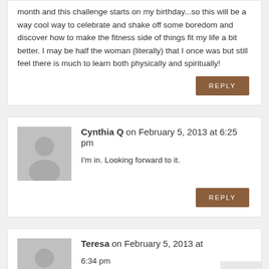month and this challenge starts on my birthday...so this will be a way cool way to celebrate and shake off some boredom and discover how to make the fitness side of things fit my life a bit better. I may be half the woman (literally) that I once was but still feel there is much to learn both physically and spiritually!
REPLY
Cynthia Q on February 5, 2013 at 6:25 pm
I'm in. Looking forward to it.
REPLY
Teresa on February 5, 2013 at 6:34 pm